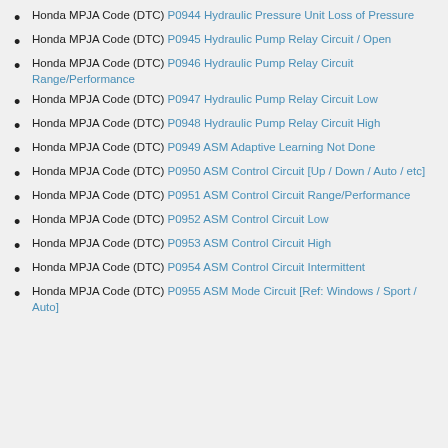Honda MPJA Code (DTC) P0944 Hydraulic Pressure Unit Loss of Pressure
Honda MPJA Code (DTC) P0945 Hydraulic Pump Relay Circuit / Open
Honda MPJA Code (DTC) P0946 Hydraulic Pump Relay Circuit Range/Performance
Honda MPJA Code (DTC) P0947 Hydraulic Pump Relay Circuit Low
Honda MPJA Code (DTC) P0948 Hydraulic Pump Relay Circuit High
Honda MPJA Code (DTC) P0949 ASM Adaptive Learning Not Done
Honda MPJA Code (DTC) P0950 ASM Control Circuit [Up / Down / Auto / etc]
Honda MPJA Code (DTC) P0951 ASM Control Circuit Range/Performance
Honda MPJA Code (DTC) P0952 ASM Control Circuit Low
Honda MPJA Code (DTC) P0953 ASM Control Circuit High
Honda MPJA Code (DTC) P0954 ASM Control Circuit Intermittent
Honda MPJA Code (DTC) P0955 ASM Mode Circuit [Ref: Windows / Sport / Auto]